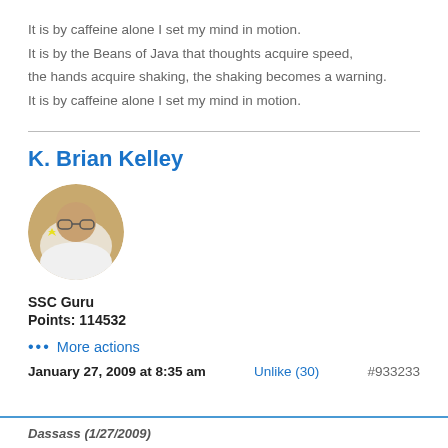It is by caffeine alone I set my mind in motion.
It is by the Beans of Java that thoughts acquire speed,
the hands acquire shaking, the shaking becomes a warning.
It is by caffeine alone I set my mind in motion.
K. Brian Kelley
[Figure (photo): Circular profile photo of K. Brian Kelley]
SSC Guru
Points: 114532
••• More actions
January 27, 2009 at 8:35 am    Unlike (30)    #933233
Daccoco (1/27/2000)